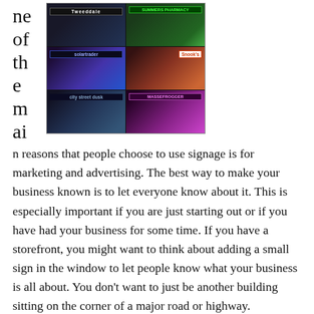[Figure (photo): A collage of retail storefront signs at night and day, showing illuminated shop signs including Tweeddale, Summers Pharmacy, Solartrader, and other storefronts with colorful signage.]
ne of the main reasons that people choose to use signage is for marketing and advertising. The best way to make your business known is to let everyone know about it. This is especially important if you are just starting out or if you have had your business for some time. If you have a storefront, you might want to think about adding a small sign in the window to let people know what your business is all about. You don't want to just be another building sitting on the corner of a major road or highway.
It is common for businesses to want to find